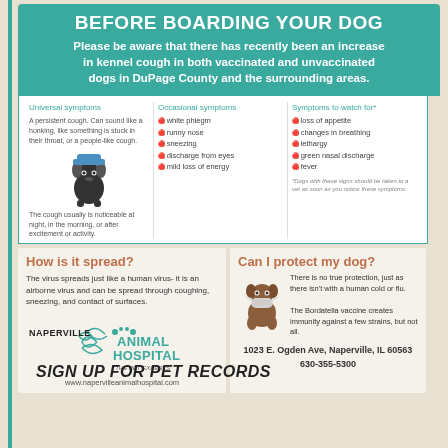BEFORE BOARDING YOUR DOG
Please be aware that there has recently been an increase in kennel cough in both vaccinated and unvaccinated dogs in DuPage County and the surrounding areas.
Universal symptoms
A persistent cough. Can sound like a honking, like something is stuck in their throat, or a people-like cough. The cough usually is noticeable at night, in the morning, or after excitement or activity.
Occasional symptoms
white phlegm
runny nose
sneezing
discharge from eyes
mild loss of energy
Symptoms to watch for*
loss of appetite
changes in breathing
lethargy
green nasal discharge
fever
*Dogs with these signs should be taken to a vet as soon as you notice these symptoms.
How is it spread?
The virus spreads just like a human virus- it is an airborne virus and can be spread through coughing, sneezing, and contact of surfaces.
[Figure (logo): Naperville Animal Hospital logo with decorative dog illustration]
www.napervilleanimalhospital.com
Can I protect my dog?
[Figure (illustration): Cartoon brown dog wearing a face mask]
There is no true protection, just as there isn't with a human cold or flu. The Bordatella vaccine creates immunity against a few strains, but not all.
1023 E. Ogden Ave, Naperville, IL 60563
630-355-5300
SIGN UP FOR PET RECORDS